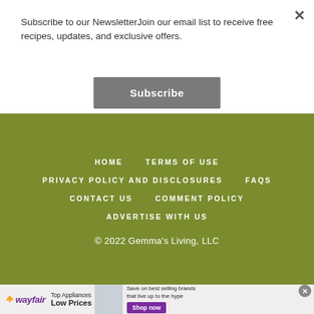Subscribe to our NewsletterJoin our email list to receive free recipes, updates, and exclusive offers.
Subscribe
HOME   TERMS OF USE   PRIVACY POLICY AND DISCLOSURES   FAQS   CONTACT US   COMMENT POLICY   ADVERTISE WITH US   © 2022 Gemma's Living, LLC
[Figure (screenshot): Wayfair advertisement: Top Appliances Low Prices, Save on best selling brands that live up to the hype, Shop now button]